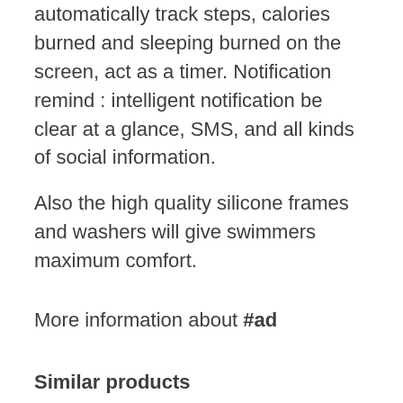automatically track steps, calories burned and sleeping burned on the screen, act as a timer. Notification remind : intelligent notification be clear at a glance, SMS, and all kinds of social information.
Also the high quality silicone frames and washers will give swimmers maximum comfort.
More information about #ad
Similar products